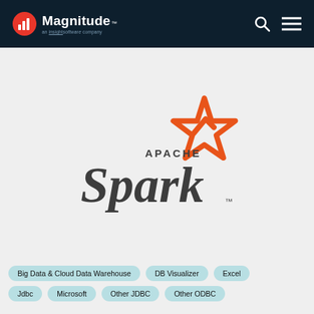Magnitude — an insightsoftware company
[Figure (logo): Apache Spark logo with orange star graphic and dark gray text reading APACHE Spark with TM mark]
Big Data & Cloud Data Warehouse
DB Visualizer
Excel
Other JDBC
Microsoft
Other ODBC